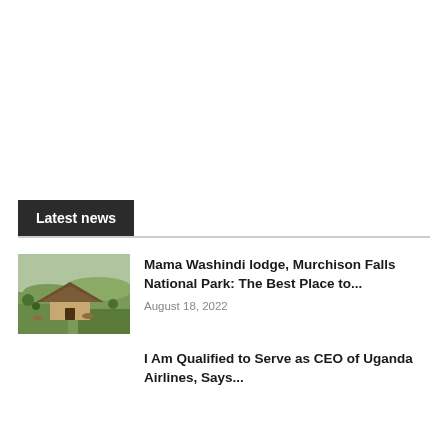Latest news
[Figure (photo): Aerial view of Mama Washindi lodge in Murchison Falls National Park, showing thatched roof huts surrounded by green savannah landscape]
Mama Washindi lodge, Murchison Falls National Park: The Best Place to...
August 18, 2022
I Am Qualified to Serve as CEO of Uganda Airlines, Says...